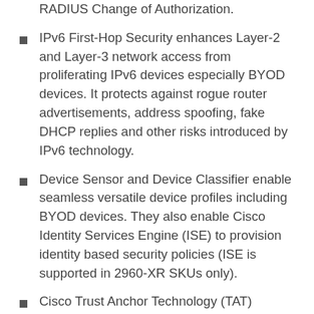RADIUS Change of Authorization.
IPv6 First-Hop Security enhances Layer-2 and Layer-3 network access from proliferating IPv6 devices especially BYOD devices. It protects against rogue router advertisements, address spoofing, fake DHCP replies and other risks introduced by IPv6 technology.
Device Sensor and Device Classifier enable seamless versatile device profiles including BYOD devices. They also enable Cisco Identity Services Engine (ISE) to provision identity based security policies (ISE is supported in 2960-XR SKUs only).
Cisco Trust Anchor Technology (TAT) enables easy distribution of a single universal image for all models of Catalyst 2960-X by verifying the authenticity of IOS images. This technology allows the switch to perform IOS integrity checks